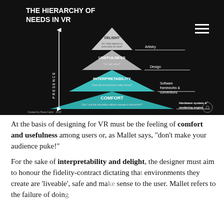[Figure (infographic): Pyramid diagram titled 'THE HIERARCHY OF NEEDS IN VR' showing four levels from bottom to top: COMFORT (teal, Hardware system & rendering engine), INTERPRETABILITY (teal, Software frameworks & conventions), USEFULNESS (grey, Design), DELIGHT (grey, Artistry). A vertical arrow on the left side is labeled PRESENCE. Created by Resa Catrin 2020.]
At the basis of designing for VR must be the feeling of comfort and usefulness among users or, as Mallet says, “don’t make your audience puke!”
For the sake of interpretability and delight, the designer must aim to honour the fidelity-contract dictating that environments they create are ‘liveable’, safe and make sense to the user. Mallet refers to the failure of doing so “the uncanny valley” and more design concepts.